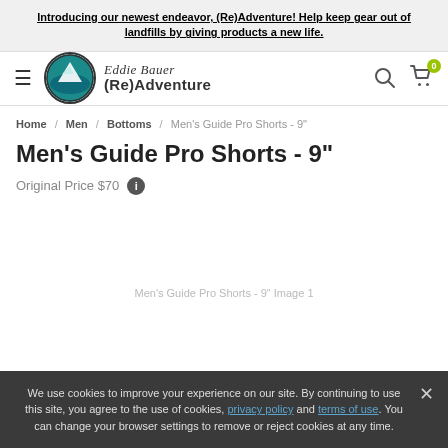Introducing our newest endeavor, (Re)Adventure! Help keep gear out of landfills by giving products a new life.
[Figure (logo): Eddie Bauer (Re)Adventure logo with circular mountain/water emblem and stylized text]
Home / Men / Bottoms / Men's Guide Pro Shorts - 9"
Men's Guide Pro Shorts - 9"
Original Price $70 ℹ
Men's Guide Pro Shorts - 9" Image 1
We use cookies to improve your experience on our site. By continuing to use this site, you agree to the use of cookies, privacy policy and terms of use. You can change your browser settings to remove or reject cookies at any time.